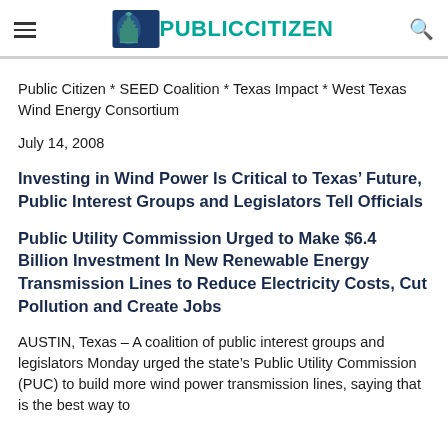Public Citizen
Public Citizen * SEED Coalition * Texas Impact * West Texas Wind Energy Consortium
July 14, 2008
Investing in Wind Power Is Critical to Texas’ Future, Public Interest Groups and Legislators Tell Officials
Public Utility Commission Urged to Make $6.4 Billion Investment In New Renewable Energy Transmission Lines to Reduce Electricity Costs, Cut Pollution and Create Jobs
AUSTIN, Texas – A coalition of public interest groups and legislators Monday urged the state’s Public Utility Commission (PUC) to build more wind power transmission lines, saying that is the best way to